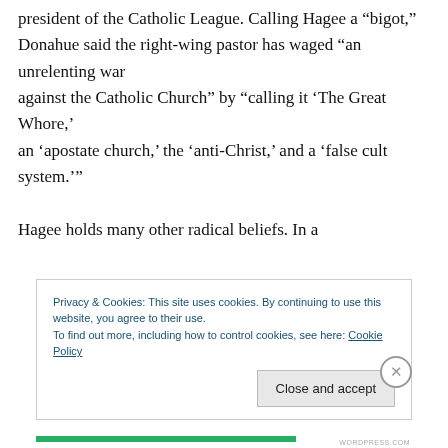president of the Catholic League. Calling Hagee a “bigot,” Donahue said the right-wing pastor has waged “an unrelenting war against the Catholic Church” by “calling it ‘The Great Whore,’ an ‘apostate church,’ the ‘anti-Christ,’ and a ‘false cult system.’”
Hagee holds many other radical beliefs. In a
Privacy & Cookies: This site uses cookies. By continuing to use this website, you agree to their use.
To find out more, including how to control cookies, see here: Cookie Policy